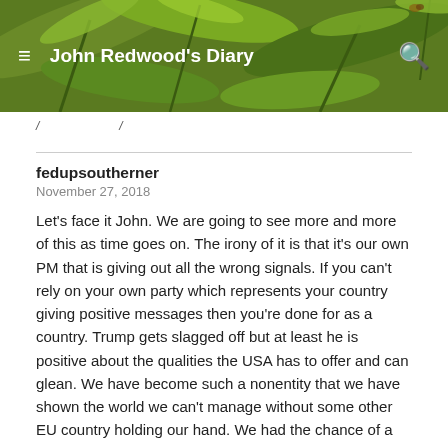John Redwood's Diary
fedupsoutherner
November 27, 2018
Let's face it John. We are going to see more and more of this as time goes on. The irony of it is that it's our own PM that is giving out all the wrong signals. If you can't rely on your own party which represents your country giving positive messages then you're done for as a country. Trump gets slagged off but at least he is positive about the qualities the USA has to offer and can glean. We have become such a nonentity that we have shown the world we can't manage without some other EU country holding our hand. We had the chance of a lifetime and we've blown it. Reading your blogs filled me with hope but